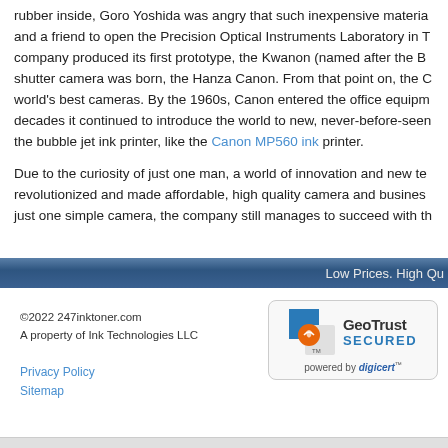rubber inside, Goro Yoshida was angry that such inexpensive materia and a friend to open the Precision Optical Instruments Laboratory in T company produced its first prototype, the Kwanon (named after the B shutter camera was born, the Hanza Canon. From that point on, the C world's best cameras. By the 1960s, Canon entered the office equipm decades it continued to introduce the world to new, never-before-seen the bubble jet ink printer, like the Canon MP560 ink printer.
Due to the curiosity of just one man, a world of innovation and new te revolutionized and made affordable, high quality camera and busines just one simple camera, the company still manages to succeed with th
Low Prices. High Qu
©2022 247inktoner.com
A property of Ink Technologies LLC
Privacy Policy
Sitemap
[Figure (logo): GeoTrust SECURED badge powered by digicert]
[Figure (logo): TrustedSite CERTIFIED SECURE badge]